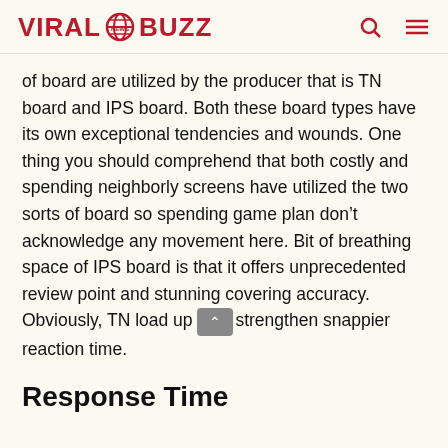VIRAL BUZZ
of board are utilized by the producer that is TN board and IPS board. Both these board types have its own exceptional tendencies and wounds. One thing you should comprehend that both costly and spending neighborly screens have utilized the two sorts of board so spending game plan don't acknowledge any movement here. Bit of breathing space of IPS board is that it offers unprecedented review point and stunning covering accuracy. Obviously, TN load up strengthen snappier reaction time.
Response Time